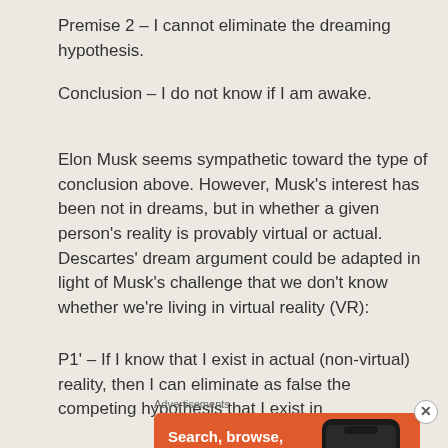Premise 2 – I cannot eliminate the dreaming hypothesis.
Conclusion – I do not know if I am awake.
Elon Musk seems sympathetic toward the type of conclusion above. However, Musk's interest has been not in dreams, but in whether a given person's reality is provably virtual or actual. Descartes' dream argument could be adapted in light of Musk's challenge that we don't know whether we're living in virtual reality (VR):
P1' – If I know that I exist in actual (non-virtual) reality, then I can eliminate as false the competing hypothesis that I exist in
Advertisements
[Figure (screenshot): DuckDuckGo advertisement: Search, browse, and email with more privacy. All in One Free App. Shows a phone with DuckDuckGo logo.]